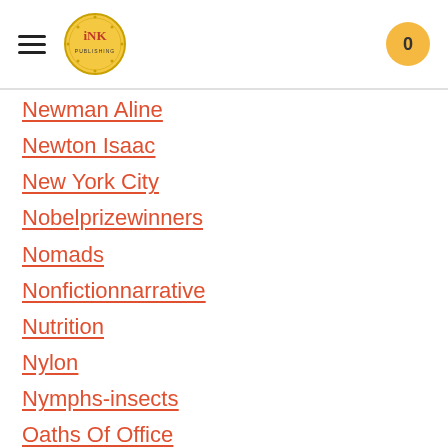INK [logo] 0
Newman Aline
Newton Isaac
New York City
Nobelprizewinners
Nomads
Nonfictionnarrative
Nutrition
Nylon
Nymphs-insects
Oaths Of Office
Occupations
Ocean
Ocean-liners
Olympics